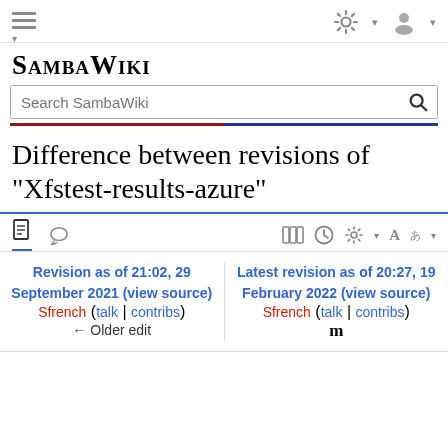SambaWiki — Search SambaWiki
Difference between revisions of "Xfstest-results-azure"
Revision as of 21:02, 29 September 2021 (view source)
Sfrench (talk | contribs)
← Older edit
Latest revision as of 20:27, 19 February 2022 (view source)
Sfrench (talk | contribs)
m